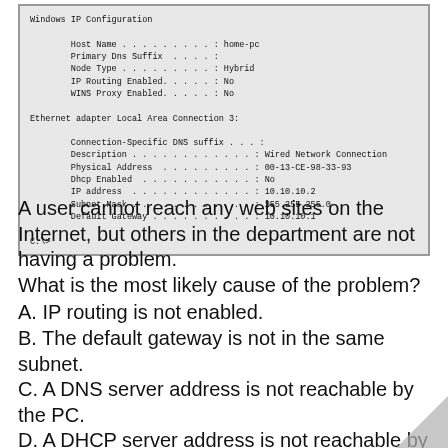[Figure (screenshot): Windows command prompt showing IP configuration output: Host Name: home-pc, Primary Dns Suffix: (blank), Node Type: Hybrid, IP Routing Enabled: No, WINS Proxy Enabled: No. Ethernet adapter Local Area Connection 3: Connection-Specific DNS suffix: (blank), Description: Wired Network Connection, Physical Address: 00-13-CE-98-33-93, Dhcp Enabled: No, IP address: 10.10.10.2, Subnet Mask: 255.255.255.0, Default Gateway: 10.10.10.1. Prompt: C:\>]
A user cannot reach any web sites on the Internet, but others in the department are not having a problem. What is the most likely cause of the problem?
A. IP routing is not enabled.
B. The default gateway is not in the same subnet.
C. A DNS server address is not reachable by the PC.
D. A DHCP server address is not reachable by the PC.